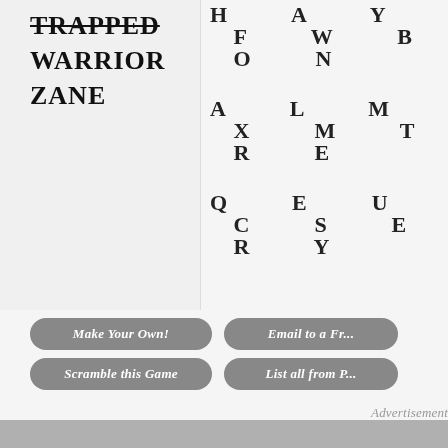TRAPPED
WARRIOR
ZANE
[Figure (other): Word search letter grid showing rows: H A Y F W B O N, A L M X M T R E, Q E U C S E R Y]
Make Your Own!
Email to a Fr...
Scramble this Game
List all from P...
Advertisement